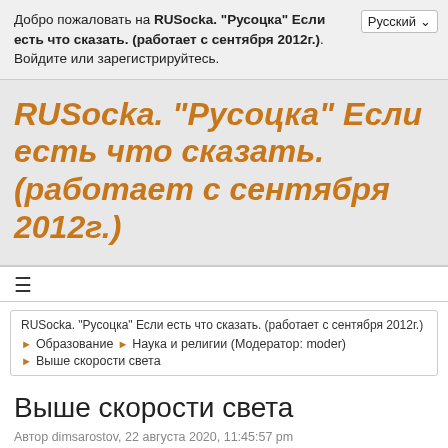Добро пожаловать на RUSocka. "Русоцка" Если есть что сказать. (работает с сентября 2012г.). Войдите или зарегистрируйтесь.
RUSocka. "Русоцка" Если есть что сказать. (работает с сентября 2012г.)
RUSocka. "Русоцка" Если есть что сказать. (работает с сентября 2012г.)
Образование ► Наука и религии (Модератор: moder)
Выше скорости света
Выше скорости света
Автор dimsarostov, 22 августа 2020, 11:45:57 pm
0 Пользователей и 1 гость просматривают эту тему.